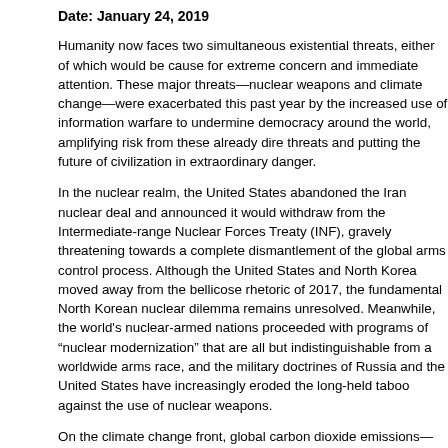Date: January 24, 2019
Humanity now faces two simultaneous existential threats, either of which would be cause for extreme concern and immediate attention. These major threats—nuclear weapons and climate change—were exacerbated this past year by the increased use of information warfare to undermine democracy around the world, amplifying risk from these already dire threats and putting the future of civilization in extraordinary danger.
In the nuclear realm, the United States abandoned the Iran nuclear deal and announced it would withdraw from the Intermediate-range Nuclear Forces Treaty (INF), gravely threatening towards a complete dismantlement of the global arms control process. Although the United States and North Korea moved away from the bellicose rhetoric of 2017, the fundamental North Korean nuclear dilemma remains unresolved. Meanwhile, the world's nuclear-armed nations proceeded with programs of "nuclear modernization" that are all but indistinguishable from a worldwide arms race, and the military doctrines of Russia and the United States have increasingly eroded the long-held taboo against the use of nuclear weapons.
On the climate change front, global carbon dioxide emissions—which seemed to plateau earlier this decade—resumed an upward climb in 2017 and 2018. To halt the worst effects of climate change, the countries of the world must cut net worldwide carbon dioxide emissions to zero by well before the end of the century. By such a measure, the global community failed dismally last year. At the same time, the main global accord on addressing climate change—the 2015 Paris agreement—has become increasingly beleaguered. The United States announced it will withdraw from that pact, and a